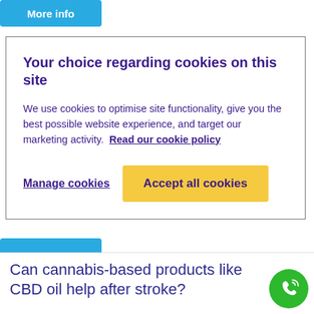[Figure (screenshot): Cyan 'More info' button at top of page]
Your choice regarding cookies on this site

We use cookies to optimise site functionality, give you the best possible website experience, and target our marketing activity. Read our cookie policy

Manage cookies    Accept all cookies
[Figure (screenshot): Cyan 'More info' button below cookie modal]
Can cannabis-based products like CBD oil help after stroke?
[Figure (illustration): Green phone/call icon circle at bottom right]